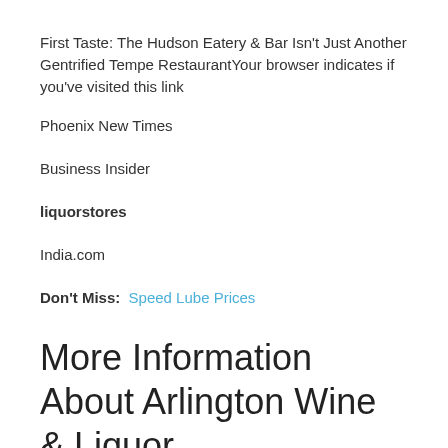First Taste: The Hudson Eatery & Bar Isn't Just Another Gentrified Tempe RestaurantYour browser indicates if you've visited this link
Phoenix New Times
Business Insider
liquorstores
India.com
Don't Miss:  Speed Lube Prices
More Information About Arlington Wine & Liquor